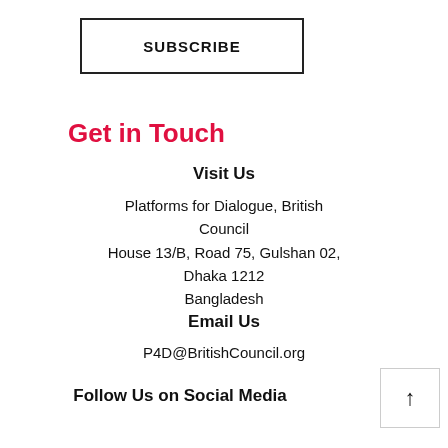SUBSCRIBE
Get in Touch
Visit Us
Platforms for Dialogue, British Council
House 13/B, Road 75, Gulshan 02,
Dhaka 1212
Bangladesh
Email Us
P4D@BritishCouncil.org
Follow Us on Social Media